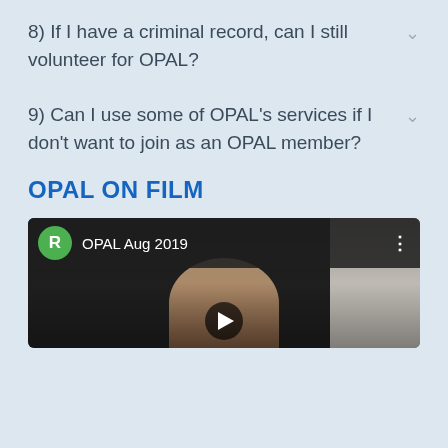8) If I have a criminal record, can I still volunteer for OPAL?
9) Can I use some of OPAL's services if I don't want to join as an OPAL member?
OPAL ON FILM
[Figure (screenshot): Video thumbnail showing a woman's face with a play button overlay. Top bar shows a green avatar circle with letter R, title 'OPAL Aug 2019', and a three-dot menu icon.]